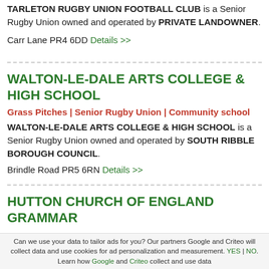TARLETON RUGBY UNION FOOTBALL CLUB is a Senior Rugby Union owned and operated by PRIVATE LANDOWNER.
Carr Lane PR4 6DD Details >>
WALTON-LE-DALE ARTS COLLEGE & HIGH SCHOOL
Grass Pitches | Senior Rugby Union | Community school
WALTON-LE-DALE ARTS COLLEGE & HIGH SCHOOL is a Senior Rugby Union owned and operated by SOUTH RIBBLE BOROUGH COUNCIL.
Brindle Road PR5 6RN Details >>
HUTTON CHURCH OF ENGLAND GRAMMAR
Can we use your data to tailor ads for you? Our partners Google and Criteo will collect data and use cookies for ad personalization and measurement. YES | NO. Learn how Google and Criteo collect and use data